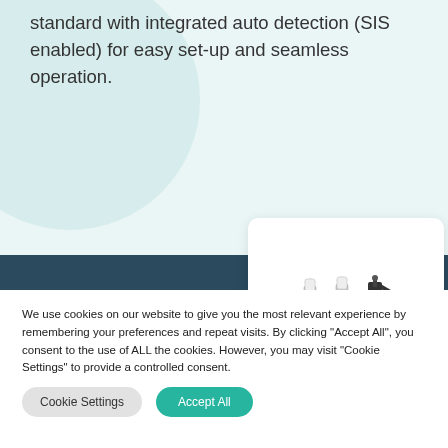standard with integrated auto detection (SIS enabled) for easy set-up and seamless operation.
[Figure (photo): A white rectangular electronic/industrial device or panel with black mounting hardware and mechanical components attached on top, viewed at an angle.]
We use cookies on our website to give you the most relevant experience by remembering your preferences and repeat visits. By clicking "Accept All", you consent to the use of ALL the cookies. However, you may visit "Cookie Settings" to provide a controlled consent.